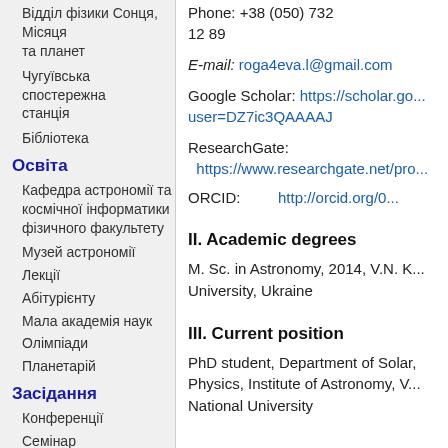Відділ фізики Сонця, Місяця та планет
Чугуївська спостережна станція
Бібліотека
Освіта
Кафедра астрономії та космічної інформатики фізичного факультету
Музей астрономії
Лекції
Абітурієнту
Мала академія наук
Олімпіади
Планетарій
Засідання
Конференції
Семінар
Вчена рада
Публікації
Мас-медіа
Книги
Каталоги
Phone: +38 (050) 732 12 89
E-mail: roga4eva.l@gmail.com
Google Scholar: https://scholar.go... user=DZ7ic3QAAAAJ
ResearchGate: https://www.researchgate.net/pro...
ORCID: http://orcid.org/0...
II. Academic degrees
M. Sc. in Astronomy, 2014, V.N. K... University, Ukraine
III. Current position
PhD student, Department of Solar, Physics, Institute of Astronomy, V... National University